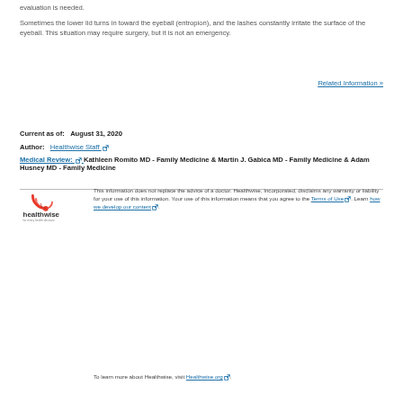evaluation is needed.
Sometimes the lower lid turns in toward the eyeball (entropion), and the lashes constantly irritate the surface of the eyeball. This situation may require surgery, but it is not an emergency.
Related Information »
Current as of:   August 31, 2020
Author:   Healthwise Staff
Medical Review:   Kathleen Romito MD - Family Medicine & Martin J. Gabica MD - Family Medicine & Adam Husney MD - Family Medicine
[Figure (logo): Healthwise logo - for every health decision]
This information does not replace the advice of a doctor. Healthwise, Incorporated, disclaims any warranty or liability for your use of this information. Your use of this information means that you agree to the Terms of Use. Learn how we develop our content.
To learn more about Healthwise, visit Healthwise.org.